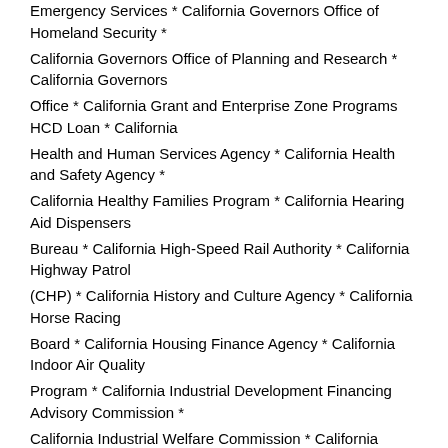Emergency Services * California Governors Office of Homeland Security *
California Governors Office of Planning and Research * California Governors
Office * California Grant and Enterprise Zone Programs HCD Loan * California
Health and Human Services Agency * California Health and Safety Agency *
California Healthy Families Program * California Hearing Aid Dispensers
Bureau * California High-Speed Rail Authority * California Highway Patrol
(CHP) * California History and Culture Agency * California Horse Racing
Board * California Housing Finance Agency * California Indoor Air Quality
Program * California Industrial Development Financing Advisory Commission *
California Industrial Welfare Commission * California InFoPeople *
California Information Center for the Environment *